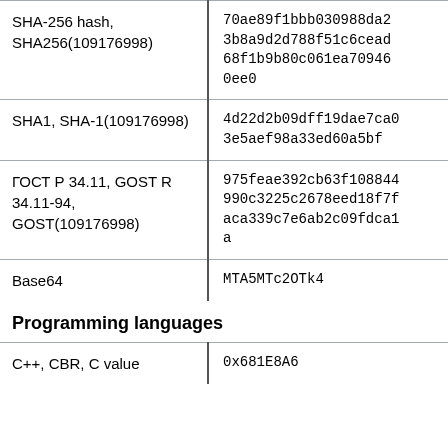| Algorithm | Hash value |
| --- | --- |
| SHA-256 hash, SHA256(109176998) | 70ae89f1bbb030988da23b8a9d2d788f51c6cead68f1b9b80c061ea709460ee0 |
| SHA1, SHA-1(109176998) | 4d22d2b09dff19dae7ca03e5aef98a33ed60a5bf |
| ГОСТ Р 34.11, GOST R 34.11-94, GOST(109176998) | 975feae392cb63f108844990c3225c2678eed18f7faca339c7e6ab2c09fdca1a |
| Base64 | MTA5MTc2OTk4 |
Programming languages
| Language | Value |
| --- | --- |
| C++, CBR, C value | 0x681E8A6 |